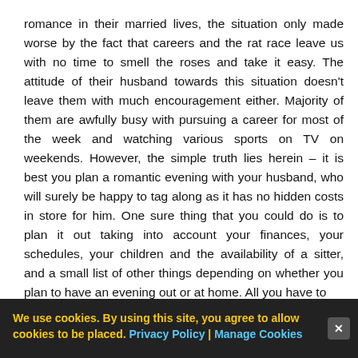romance in their married lives, the situation only made worse by the fact that careers and the rat race leave us with no time to smell the roses and take it easy. The attitude of their husband towards this situation doesn't leave them with much encouragement either. Majority of them are awfully busy with pursuing a career for most of the week and watching various sports on TV on weekends. However, the simple truth lies herein – it is best you plan a romantic evening with your husband, who will surely be happy to tag along as it has no hidden costs in store for him. One sure thing that you could do is to plan it out taking into account your finances, your schedules, your children and the availability of a sitter, and a small list of other things depending on whether you plan to have an evening out or at home. All you have to
We use cookies. By using this site, you agree to allow cookies to be placed. Privacy Policy | Manage Cookies